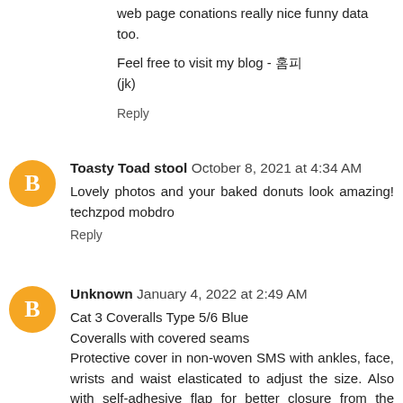web page conations really nice funny data too.
Feel free to visit my blog - 홈피
(jk)
Reply
Toasty Toad stool  October 8, 2021 at 4:34 AM
Lovely photos and your baked donuts look amazing! techzpod mobdro
Reply
Unknown  January 4, 2022 at 2:49 AM
Cat 3 Coveralls Type 5/6 Blue
Coveralls with covered seams
Protective cover in non-woven SMS with ankles, face, wrists and waist elasticated to adjust the size. Also with self-adhesive flap for better closure from the front.
Type 5 & 6 with full compliance to classification according